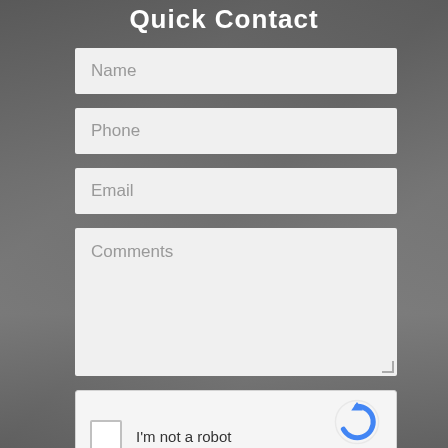Quick Contact
Name
Phone
Email
Comments
I'm not a robot
reCAPTCHA
Privacy - Terms